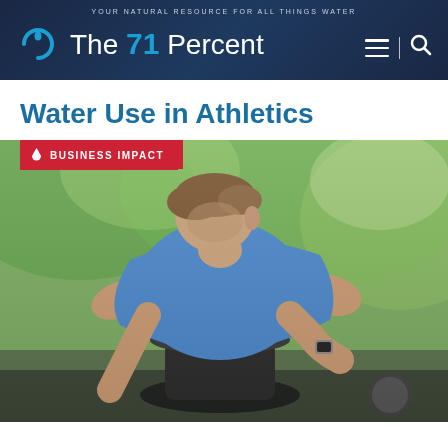YOUR NATURAL RESOURCE FOR ALL THINGS WATER — The 71 Percent
Water Use in Athletics
[Figure (photo): An athletic man in a blue sleeveless shirt leaning over an outdoor drinking fountain, drinking water. Green blurred background with trees. A badge tag reading 'BUSINESS IMPACT' overlays the top-left of the image.]